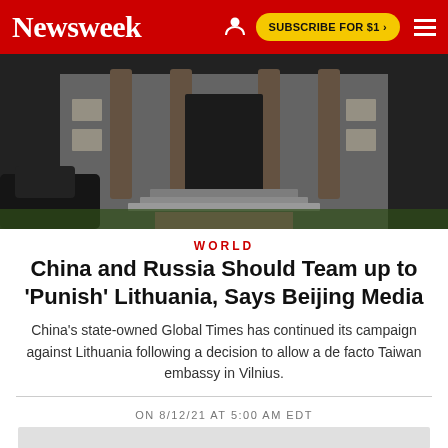Newsweek
[Figure (photo): Exterior facade of a large stone building with columns and steps, with a dark vehicle parked in front, surrounded by greenery.]
WORLD
China and Russia Should Team up to 'Punish' Lithuania, Says Beijing Media
China's state-owned Global Times has continued its campaign against Lithuania following a decision to allow a de facto Taiwan embassy in Vilnius.
ON 8/12/21 AT 5:00 AM EDT
[Figure (photo): Partially visible second photo at bottom of page, showing a light grey scene.]